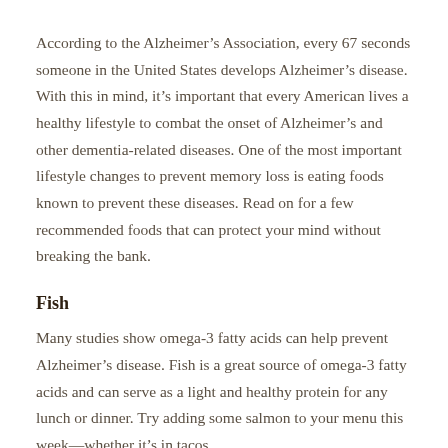According to the Alzheimer's Association, every 67 seconds someone in the United States develops Alzheimer's disease. With this in mind, it's important that every American lives a healthy lifestyle to combat the onset of Alzheimer's and other dementia-related diseases. One of the most important lifestyle changes to prevent memory loss is eating foods known to prevent these diseases. Read on for a few recommended foods that can protect your mind without breaking the bank.
Fish
Many studies show omega-3 fatty acids can help prevent Alzheimer's disease. Fish is a great source of omega-3 fatty acids and can serve as a light and healthy protein for any lunch or dinner. Try adding some salmon to your menu this week—whether it's in tacos